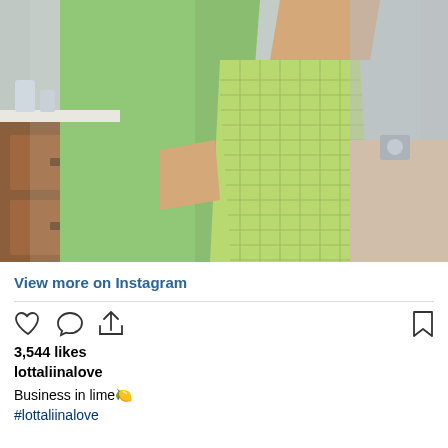[Figure (photo): Mirror selfie of a person wearing a lime green long blazer/coat open over a lime green smocked bikini set, taken in a modern bathroom with wood cabinetry and grey stone walls. The person is holding a phone to take the selfie.]
View more on Instagram
3,544 likes
lottaliinalove
Business in lime🍋 #lottaliinalove